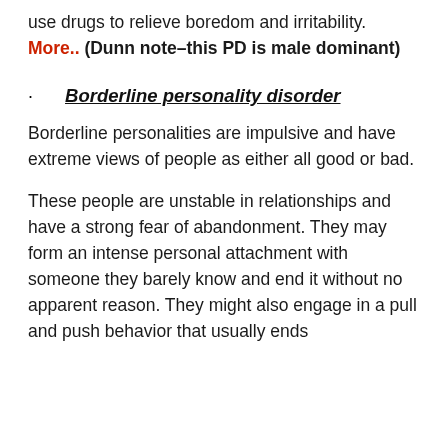use drugs to relieve boredom and irritability. More..  (Dunn note–this PD is male dominant)
Borderline personality disorder
Borderline personalities are impulsive and have extreme views of people as either all good or bad.
These people are unstable in relationships and have a strong fear of abandonment. They may form an intense personal attachment with someone they barely know and end it without no apparent reason. They might also engage in a pull and push behavior that usually ends